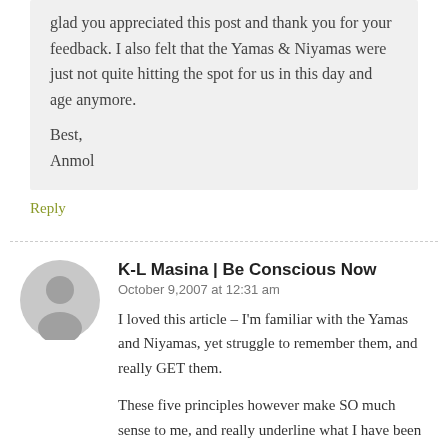glad you appreciated this post and thank you for your feedback. I also felt that the Yamas & Niyamas were just not quite hitting the spot for us in this day and age anymore.

Best,
Anmol
Reply
K-L Masina | Be Conscious Now
October 9,2007 at 12:31 am
I loved this article – I'm familiar with the Yamas and Niyamas, yet struggle to remember them, and really GET them.
These five principles however make SO much sense to me, and really underline what I have been getting the most value